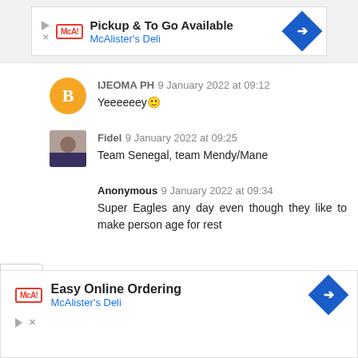[Figure (screenshot): McAlister's Deli ad banner top: 'Pickup & To Go Available' with logo and blue diamond arrow icon]
IJEOMA PH 9 January 2022 at 09:12
Yeeeeeey🙂
Fidel 9 January 2022 at 09:25
Team Senegal, team Mendy/Mane
Anonymous 9 January 2022 at 09:34
Super Eagles any day even though they like to make person age for rest
[Figure (screenshot): McAlister's Deli ad banner bottom: 'Easy Online Ordering' with logo and blue diamond arrow icon]